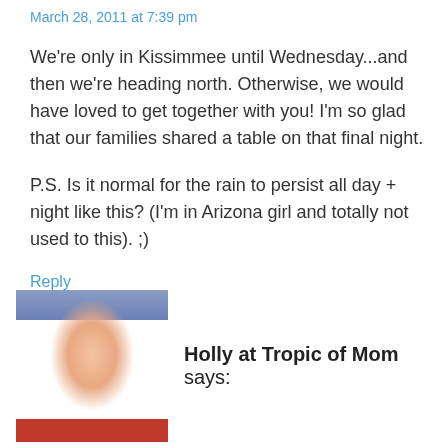March 28, 2011 at 7:39 pm
We're only in Kissimmee until Wednesday...and then we're heading north. Otherwise, we would have loved to get together with you! I'm so glad that our families shared a table on that final night.
P.S. Is it normal for the rain to persist all day + night like this? (I'm in Arizona girl and totally not used to this). ;)
Reply
[Figure (photo): Avatar photo of Holly at Tropic of Mom - a woman with blonde hair wearing a red top, with bookshelves visible in background]
Holly at Tropic of Mom says:
March 23, 2011 at 12:48 pm